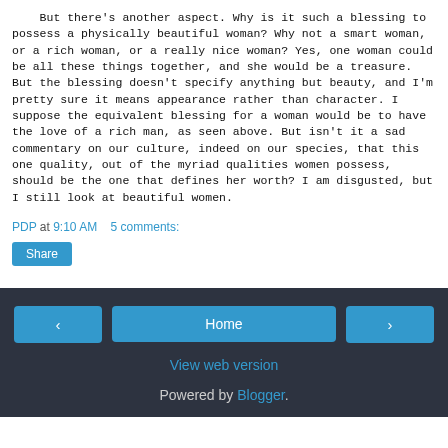But there's another aspect. Why is it such a blessing to possess a physically beautiful woman? Why not a smart woman, or a rich woman, or a really nice woman? Yes, one woman could be all these things together, and she would be a treasure. But the blessing doesn't specify anything but beauty, and I'm pretty sure it means appearance rather than character. I suppose the equivalent blessing for a woman would be to have the love of a rich man, as seen above. But isn't it a sad commentary on our culture, indeed on our species, that this one quality, out of the myriad qualities women possess, should be the one that defines her worth? I am disgusted, but I still look at beautiful women.
PDP at 9:10 AM    5 comments:
Share
Home | View web version | Powered by Blogger.